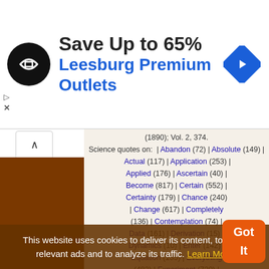[Figure (infographic): Advertisement banner: Save Up to 65% at Leesburg Premium Outlets with logo and navigation icon]
Science quotes on: | Abandon (72) | Absolute (149) | Actual (117) | Application (253) | Applied (176) | Ascertain (40) | Become (817) | Certain (552) | Certainty (179) | Chance (240) | Change (617) | Completely (136) | Contemplation (74) | Data (161) | Derivation (15) | Dynamics (10) | Enter (142) | Equation (135) | Everything (482) | Experiment (720) | Express (189) | Historical (70) | History (694) | Immutable (25) | Information (172) | Knowledge (1610) | Large (396) | Law (907) | Matter (810) | Method (517) | Molecule (181) | More (2559) | Motion (317) | Pass (232) | Perfect (?) | Portion (84) | Precision (70) | Statistics (1?) | Themselves (532) | World (1822)
This website uses cookies to deliver its content, to show relevant ads and to analyze its traffic. Learn More
[Figure (other): Got It button (orange)]